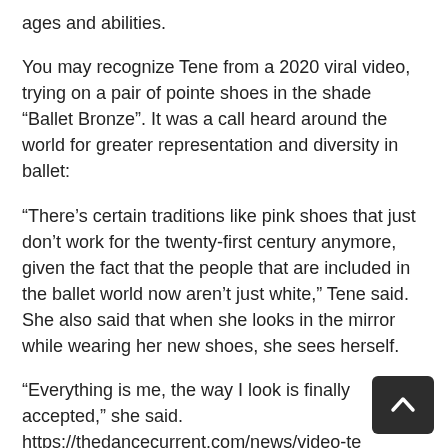ages and abilities.
You may recognize Tene from a 2020 viral video, trying on a pair of pointe shoes in the shade “Ballet Bronze”. It was a call heard around the world for greater representation and diversity in ballet:
“There’s certain traditions like pink shoes that just don’t work for the twenty-first century anymore, given the fact that the people that are included in the ballet world now aren’t just white,” Tene said. She also said that when she looks in the mirror while wearing her new shoes, she sees herself.
“Everything is me, the way I look is finally accepted,” she said. https://thedancecurrent.com/news/video-te… ward-national-ballet-canada-trying-pointe-shoes-